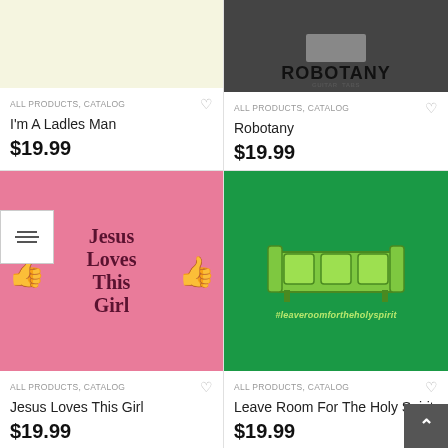[Figure (photo): Product image for I'm A Ladles Man - light cream/yellow background]
[Figure (photo): Product image for Robotany - dark gray background with ROBOTANY text]
ALL PRODUCTS, CATALOG
I'm A Ladles Man
$19.99
ALL PRODUCTS, CATALOG
Robotany
$19.99
[Figure (illustration): Pink background product image with two thumbs up and bold text Jesus Loves This Girl]
[Figure (illustration): Green background product image with couch illustration and #leaveroomfortheholyspirit text]
ALL PRODUCTS, CATALOG
Jesus Loves This Girl
$19.99
ALL PRODUCTS, CATALOG
Leave Room For The Holy Spirit
$19.99